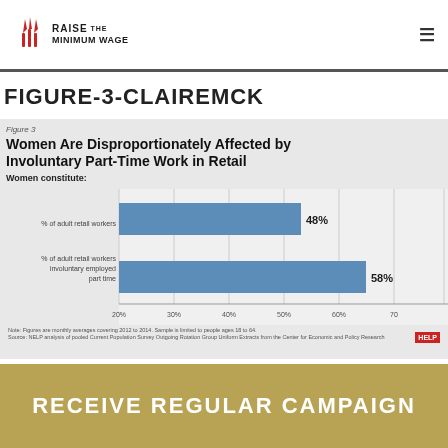RAISE THE MINIMUM WAGE
FIGURE-3-CLAIREMCK
Figure 3
Women Are Disproportionately Affected by Involuntary Part-Time Work in Retail
Women constitute:
[Figure (bar-chart): Women Are Disproportionately Affected by Involuntary Part-Time Work in Retail]
Note: Figures are monthly averages covering 2012 to 2014. Sample is limited to people ages 18 to 64. Source: NELP analysis of pooled Current Population Survey Outgoing Rotation Group Uniform Extracts from the Center for Economic and Policy Research
RECEIVE REGULAR CAMPAIGN